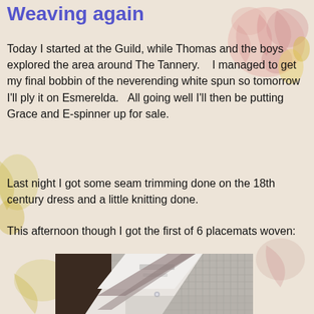Weaving again
Today I started at the Guild, while Thomas and the boys explored the area around The Tannery.   I managed to get my final bobbin of the neverending white spun so tomorrow I'll ply it on Esmerelda.   All going well I'll then be putting Grace and E-spinner up for sale.
Last night I got some seam trimming done on the 18th century dress and a little knitting done.
This afternoon though I got the first of 6 placemats woven:
[Figure (photo): Close-up photo of a woven placemat showing grey/beige woven fabric with a diagonal stripe or band element, partially rolled or folded, with a paper tag visible.]